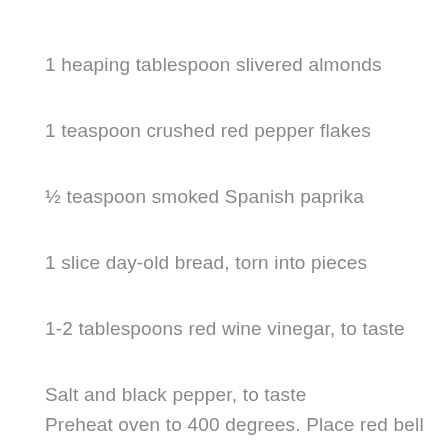1 heaping tablespoon slivered almonds
1 teaspoon crushed red pepper flakes
½ teaspoon smoked Spanish paprika
1 slice day-old bread, torn into pieces
1-2 tablespoons red wine vinegar, to taste
Salt and black pepper, to taste
Preheat oven to 400 degrees. Place red bell pepper and tomato halves, cut side down in a small